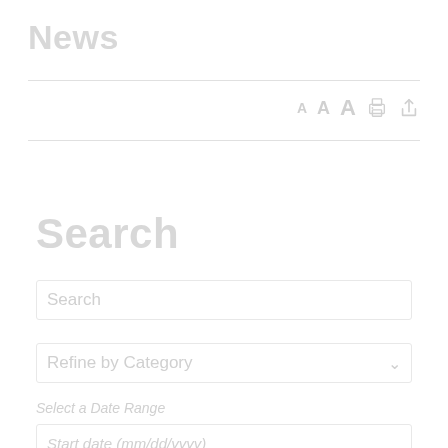News
[Figure (screenshot): Toolbar with font size controls (A A A), print icon, and share icon]
Search
Search (search input box placeholder)
Refine by Category (dropdown)
Select a Date Range
Start date (mm/dd/yyyy)